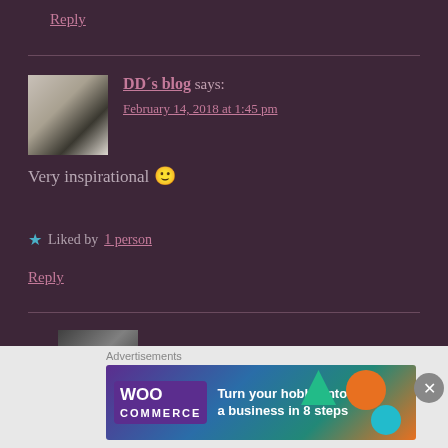Reply
[Figure (photo): Avatar photo of a person in white top and dark jeans]
DD´s blog says: February 14, 2018 at 1:45 pm
Very inspirational 🙂
★ Liked by 1person
Reply
[Figure (photo): Partial avatar photo, dark image]
Advertisements
[Figure (illustration): WooCommerce ad banner: Turn your hobby into a business in 8 steps]